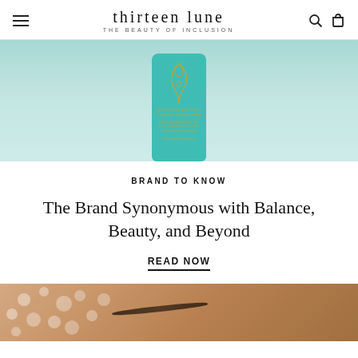thirteen lune — THE BEAUTY OF INCLUSION
[Figure (photo): A teal/turquoise cylindrical product container with gold decorative text and motif, photographed on a light teal background]
BRAND TO KNOW
The Brand Synonymous with Balance, Beauty, and Beyond
READ NOW
[Figure (photo): Close-up of a person's face with foam/bubbles on skin, showing eyebrow area, skin texture with bubbles]